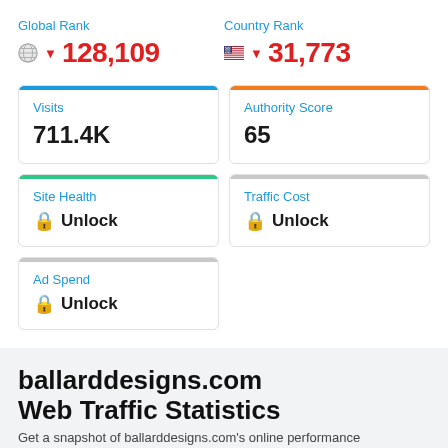Global Rank
▼ 128,109
Country Rank
▼ 31,773
Visits
711.4K
Authority Score
65
Site Health
🔒 Unlock
Traffic Cost
🔒 Unlock
Ad Spend
🔒 Unlock
ballarddesigns.com
Web Traffic Statistics
Get a snapshot of ballarddesigns.com's online performance